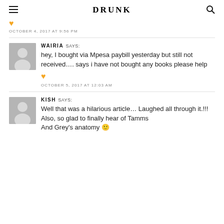DRUNK
OCTOBER 4, 2017 AT 9:56 PM
WAIRIA SAYS:
hey, I bought via Mpesa paybill yesterday but still not received…. says i have not bought any books please help
OCTOBER 5, 2017 AT 12:03 AM
KISH SAYS:
Well that was a hilarious article… Laughed all through it.!!!
Also, so glad to finally hear of Tamms
And Grey's anatomy 🙂